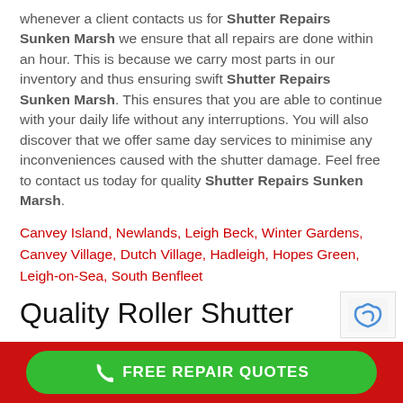whenever a client contacts us for Shutter Repairs Sunken Marsh we ensure that all repairs are done within an hour. This is because we carry most parts in our inventory and thus ensuring swift Shutter Repairs Sunken Marsh. This ensures that you are able to continue with your daily life without any interruptions. You will also discover that we offer same day services to minimise any inconveniences caused with the shutter damage. Feel free to contact us today for quality Shutter Repairs Sunken Marsh.
Canvey Island, Newlands, Leigh Beck, Winter Gardens, Canvey Village, Dutch Village, Hadleigh, Hopes Green, Leigh-on-Sea, South Benfleet
Quality Roller Shutter
FREE REPAIR QUOTES